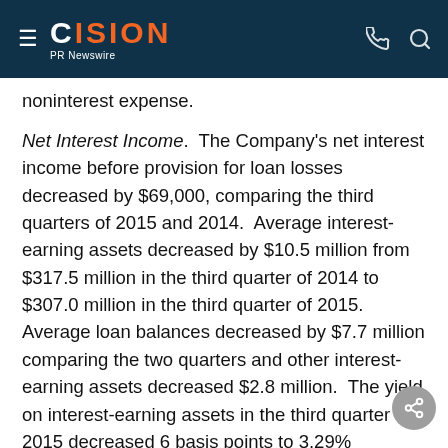CISION PR Newswire
noninterest expense.
Net Interest Income.  The Company's net interest income before provision for loan losses decreased by $69,000, comparing the third quarters of 2015 and 2014.  Average interest-earning assets decreased by $10.5 million from $317.5 million in the third quarter of 2014 to $307.0 million in the third quarter of 2015.  Average loan balances decreased by $7.7 million comparing the two quarters and other interest-earning assets decreased $2.8 million.  The yield on interest-earning assets in the third quarter of 2015 decreased 6 basis points to 3.29% compared to the